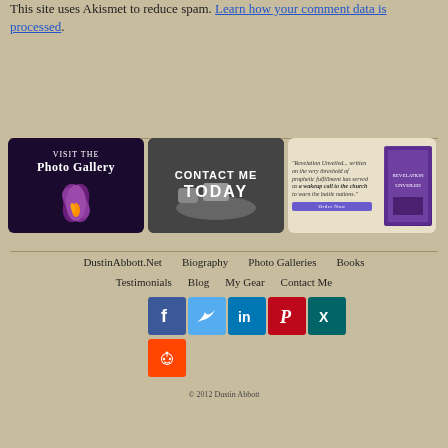This site uses Akismet to reduce spam. Learn how your comment data is processed.
[Figure (illustration): Three banner images in a row: 1) Visit the Photo Gallery - dark background with purple flower, 2) Contact Me Today - dark monochrome image with rocks, 3) Book promotion for Revelation Unveiled with quote and Order Now button]
DustinAbbott.Net   Biography   Photo Galleries   Books
Testimonials   Blog   My Gear   Contact Me
[Figure (infographic): Social media icons: Facebook, Twitter, LinkedIn, Pinterest, Xing, Reddit]
© 2012 Dustin Abbott